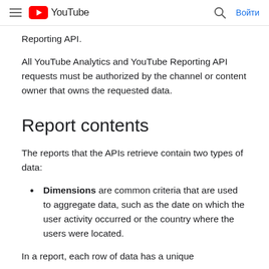YouTube — Войти
Reporting API.
All YouTube Analytics and YouTube Reporting API requests must be authorized by the channel or content owner that owns the requested data.
Report contents
The reports that the APIs retrieve contain two types of data:
Dimensions are common criteria that are used to aggregate data, such as the date on which the user activity occurred or the country where the users were located.
In a report, each row of data has a unique